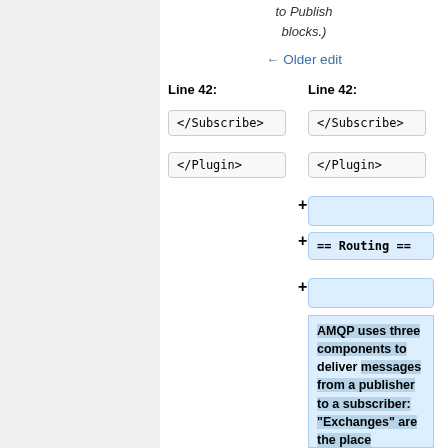to Publish blocks.)
← Older edit
Line 42:
Line 42:
</Subscribe>
</Subscribe>
</Plugin>
</Plugin>
+ (empty)
+ == Routing ==
+ (empty)
AMQP uses three components to deliver messages from a publisher to a subscriber: "Exchanges" are the place